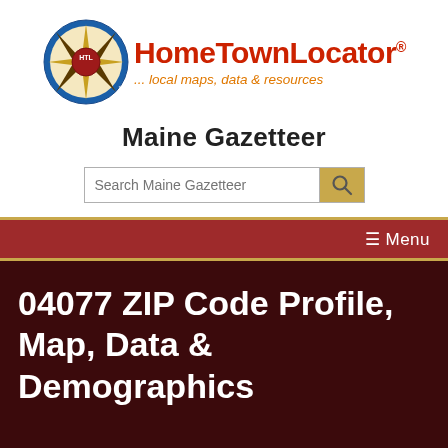[Figure (logo): HomeTownLocator logo with HTL compass badge and brand name with tagline '... local maps, data & resources']
Maine Gazetteer
[Figure (other): Search box with placeholder 'Search Maine Gazetteer' and a magnifying glass button]
☰ Menu
04077 ZIP Code Profile, Map, Data & Demographics